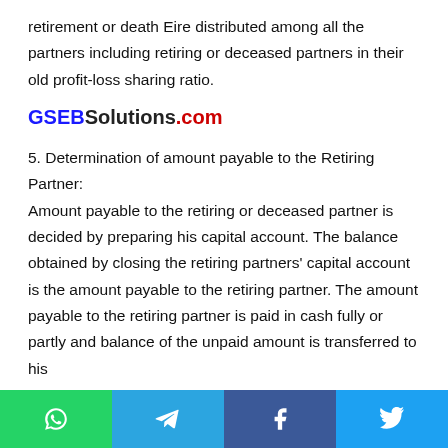retirement or death Eire distributed among all the partners including retiring or deceased partners in their old profit-loss sharing ratio.
GSEBSolutions.com
5. Determination of amount payable to the Retiring Partner:
Amount payable to the retiring or deceased partner is decided by preparing his capital account. The balance obtained by closing the retiring partners' capital account is the amount payable to the retiring partner. The amount payable to the retiring partner is paid in cash fully or partly and balance of the unpaid amount is transferred to his
[Figure (infographic): Social sharing buttons bar at bottom: WhatsApp (green), Telegram (blue), Facebook (dark blue), Twitter (light blue), each with respective icons.]